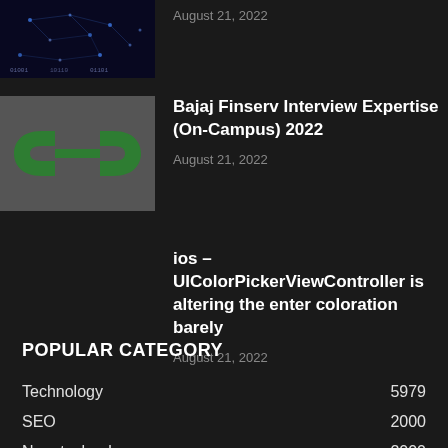[Figure (photo): Dark circuit board or neural network image thumbnail, top-left corner]
August 21, 2022
[Figure (logo): GeeksforGeeks logo - two mirrored bracket-like 'G' shapes in green on gray background]
Bajaj Finserv Interview Expertise (On-Campus) 2022
August 21, 2022
ios – UIColorPickerViewController is altering the enter coloration barely
August 21, 2022
POPULAR CATEGORY
Technology  5979
SEO  2000
Nanotechnology  2000